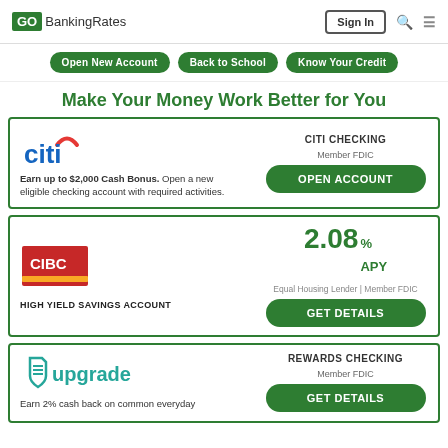GOBankingRates | Sign In
Open New Account | Back to School | Know Your Credit
Make Your Money Work Better for You
[Figure (logo): Citi bank logo with red arc and blue text]
Earn up to $2,000 Cash Bonus. Open a new eligible checking account with required activities.
CITI CHECKING
Member FDIC
OPEN ACCOUNT
[Figure (logo): CIBC logo — red rectangle with gold stripe and CIBC text]
HIGH YIELD SAVINGS ACCOUNT
2.08% APY
Equal Housing Lender | Member FDIC
GET DETAILS
[Figure (logo): Upgrade logo — teal shield icon with upgrade text]
Earn 2% cash back on common everyday
REWARDS CHECKING
Member FDIC
GET DETAILS